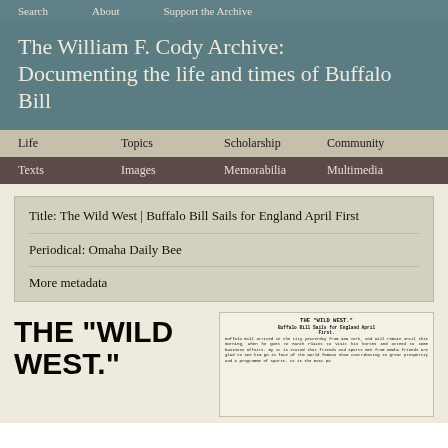Search   About   Support the Archive
The William F. Cody Archive: Documenting the life and times of Buffalo Bill
Life   Topics   Scholarship   Community
Texts   Images   Memorabilia   Multimedia
Title: The Wild West | Buffalo Bill Sails for England April First
Periodical: Omaha Daily Bee
More metadata
THE "WILD WEST."
[Figure (photo): Scanned newspaper clipping with headline 'THE WILD WEST.' and subheading 'Buffalo Bill Sails for England April First', containing dense small-font article text.]